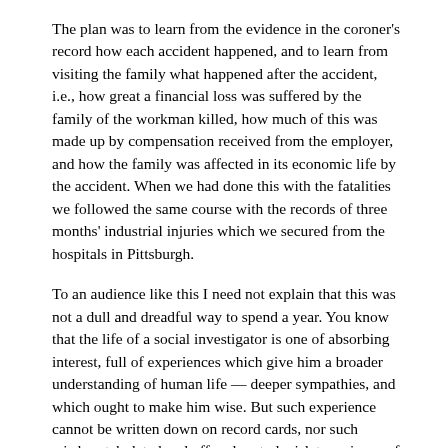The plan was to learn from the evidence in the coroner's record how each accident happened, and to learn from visiting the family what happened after the accident, i.e., how great a financial loss was suffered by the family of the workman killed, how much of this was made up by compensation received from the employer, and how the family was affected in its economic life by the accident. When we had done this with the fatalities we followed the same course with the records of three months' industrial injuries which we secured from the hospitals in Pittsburgh.
To an audience like this I need not explain that this was not a dull and dreadful way to spend a year. You know that the life of a social investigator is one of absorbing interest, full of experiences which give him a broader understanding of human life — deeper sympathies, and which ought to make him wise. But such experience cannot be written down on record cards, nor such wisdom tabulated and offered up to legislatures in proof that new laws are